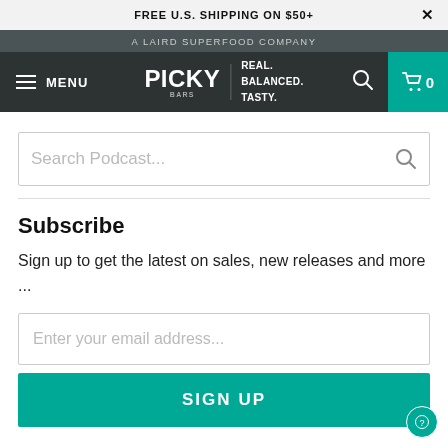FREE U.S. SHIPPING ON $50+
A LAIRD SUPERFOOD COMPANY
MENU  PICKY BARS  REAL. BALANCED. TASTY.  0
Search Podcast...
Subscribe
Sign up to get the latest on sales, new releases and more ...
Enter your email address...
SIGN UP